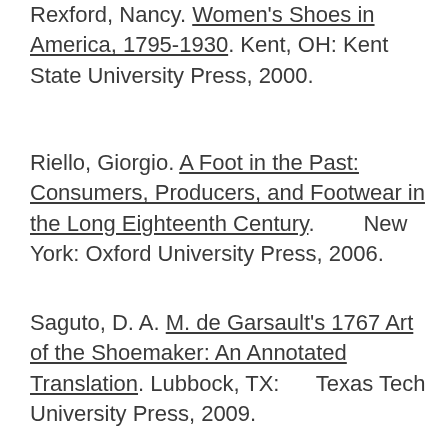Rexford, Nancy. Women's Shoes in America, 1795-1930. Kent, OH: Kent State University Press, 2000.
Riello, Giorgio. A Foot in the Past: Consumers, Producers, and Footwear in the Long Eighteenth Century. New York: Oxford University Press, 2006.
Saguto, D. A. M. de Garsault's 1767 Art of the Shoemaker: An Annotated Translation. Lubbock, TX: Texas Tech University Press, 2009.